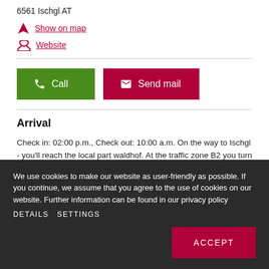6561 Ischgl AT
Show on map
Website
Call
Send mail
Arrival
Check in: 02:00 p.m., Check out: 10:00 a.m. On the way to Ischgl - you'll reach the local part waldhof. At the traffic zone B2 you turn left and go straight on, untill you reach the little part Waldhof. Our house is the 1st one on the left side.
We use cookies to make our website as user-friendly as possible. If you continue, we assume that you agree to the use of cookies on our website. Further information can be found in our privacy policy DETAILS SETTINGS
ACCEPT